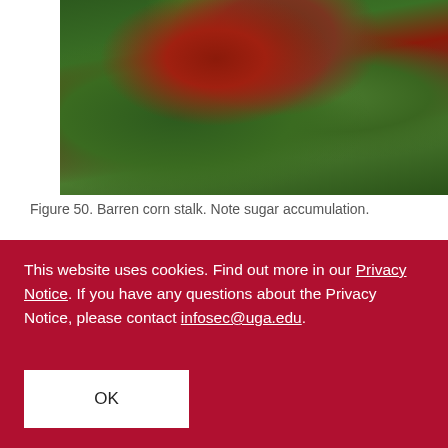[Figure (photo): Photograph of a barren corn stalk with reddish-purple leaves, showing sugar accumulation, surrounded by green corn plants]
Figure 50. Barren corn stalk. Note sugar accumulation.
[Figure (photo): Photograph of a corn plant base/root system showing an orange-brown stalk and root crown]
This website uses cookies. Find out more in our Privacy Notice. If you have any questions about the Privacy Notice, please contact infosec@uga.edu.